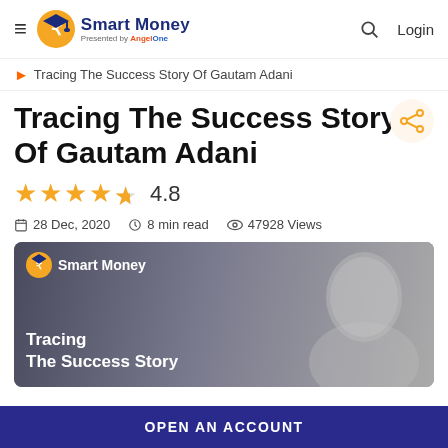Smart Money — presented by AngelOne
> Tracing The Success Story Of Gautam Adani
Tracing The Success Story Of Gautam Adani
4.8 stars rating
28 Dec, 2020   8 min read   47928 Views
[Figure (photo): Smart Money branded article thumbnail showing Gautam Adani in black and white portrait, with text overlay 'Tracing The Success Story' and Smart Money logo]
OPEN AN ACCOUNT